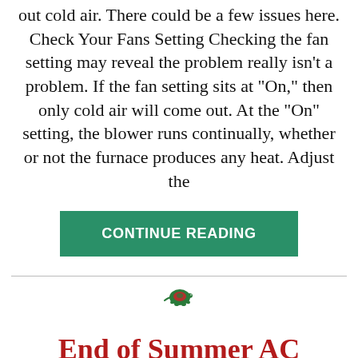out cold air. There could be a few issues here. Check Your Fans Setting Checking the fan setting may reveal the problem really isn’t a problem. If the fan setting sits at “On,” then only cold air will come out. At the “On” setting, the blower runs continually, whether or not the furnace produces any heat. Adjust the
CONTINUE READING
[Figure (logo): Small turtle/tortoise logo icon in red and green colors]
End of Summer AC Maintenance Could Help